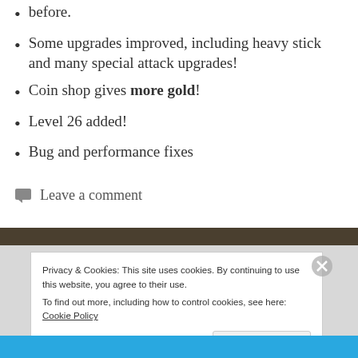before.
Some upgrades improved, including heavy stick and many special attack upgrades!
Coin shop gives more gold!
Level 26 added!
Bug and performance fixes
Leave a comment
Privacy & Cookies: This site uses cookies. By continuing to use this website, you agree to their use.
To find out more, including how to control cookies, see here: Cookie Policy
Close and accept